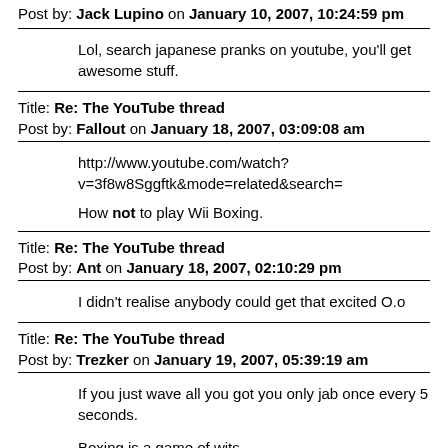Post by: Jack Lupino on January 10, 2007, 10:24:59 pm
Lol, search japanese pranks on youtube, you'll get awesome stuff.
Title: Re: The YouTube thread
Post by: Fallout on January 18, 2007, 03:09:08 am
http://www.youtube.com/watch?v=3f8w8Sggftk&mode=related&search=

How not to play Wii Boxing.
Title: Re: The YouTube thread
Post by: Ant on January 18, 2007, 02:10:29 pm
I didn't realise anybody could get that excited O.o
Title: Re: The YouTube thread
Post by: Trezker on January 19, 2007, 05:39:19 am
If you just wave all you got you only jab once every 5 seconds.

Boxing is a game of wits.
Title: Re: The YouTube thread